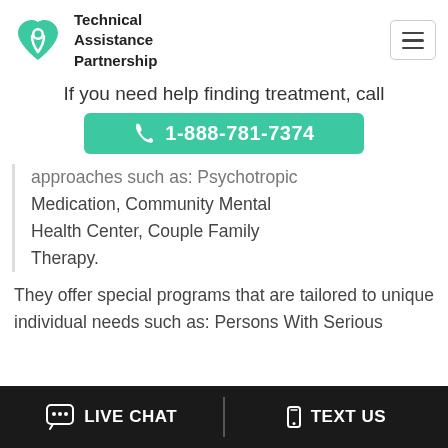Technical Assistance Partnership
If you need help finding treatment, call
1-888-781-7374
approaches such as: Psychotropic Medication, Community Mental Health Center, Couple Family Therapy.
They offer special programs that are tailored to unique individual needs such as: Persons With Serious
LIVE CHAT   TEXT US